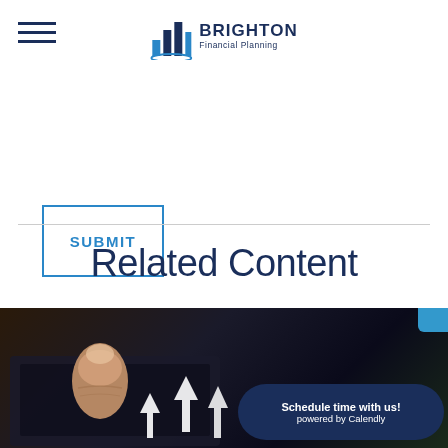[Figure (logo): Brighton Financial Planning logo with bar chart icon and company name]
SUBMIT
Related Content
[Figure (photo): Person touching a tablet screen with upward arrows, and a Calendly scheduling bubble overlay reading 'Schedule time with us! powered by Calendly']